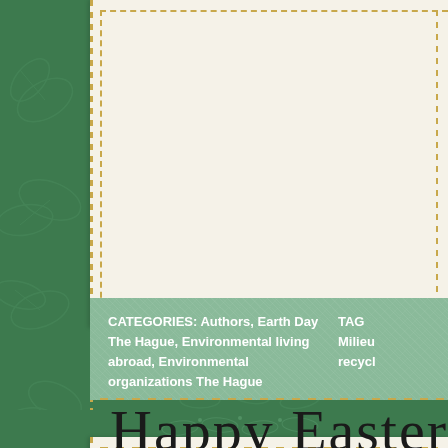[Figure (illustration): Green decorative background with leaf/floral patterns. Two white/cream card panels visible — top card occupies most of the upper portion, bottom card partially visible at bottom. A teal-green category bar spans horizontally across the top card's lower section. A handwritten-style title 'Happy Easter' appears at the bottom of the second card.]
CATEGORIES: Authors, Earth Day The Hague, Environmental living abroad, Environmental organizations The Hague
TAGS: Milieu, recycl...
Happy Easter